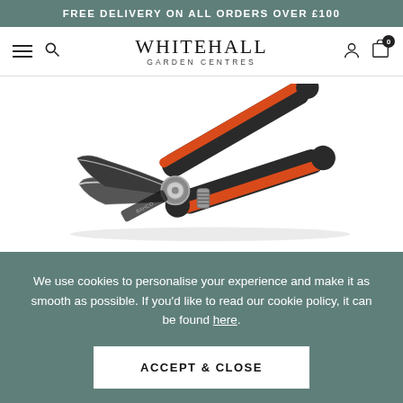FREE DELIVERY ON ALL ORDERS OVER £100
[Figure (logo): Whitehall Garden Centres logo with hamburger menu, search icon, user icon and cart with badge 0]
[Figure (photo): Product photo of red and black handled pruning shears/secateurs on white background]
We use cookies to personalise your experience and make it as smooth as possible. If you'd like to read our cookie policy, it can be found here.
ACCEPT & CLOSE